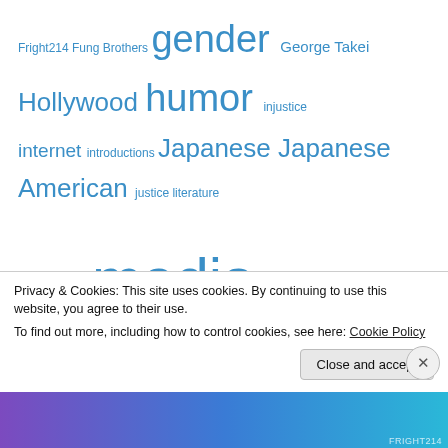[Figure (other): Tag cloud of blog/website topics in various font sizes, all in blue. Tags include: Fright214, Fung Brothers, gender, George Takei, Hollywood, humor, injustice, internet, introductions, Japanese, Japanese American, justice, literature, Martin Bashir, media, memes, minorities, movies, music, news, office hours, Pop Culture, Popular culture, prejudice, privilege, race, Race and ethnicity in the United States, Racism, rape culture, Santa Barbara, sexuality, SFO, social media, stereotypes, Trayvon Martin, video, videos, violence, welcome, white privilege, women, Youtube]
Privacy & Cookies: This site uses cookies. By continuing to use this website, you agree to their use. To find out more, including how to control cookies, see here: Cookie Policy